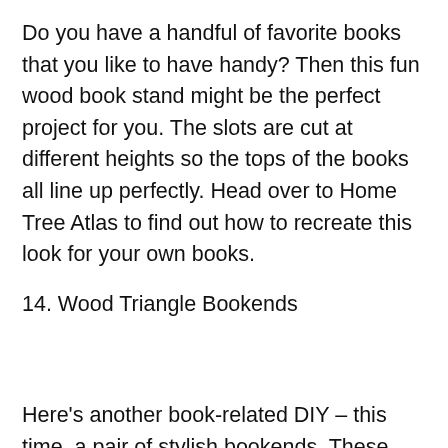Do you have a handful of favorite books that you like to have handy? Then this fun wood book stand might be the perfect project for you. The slots are cut at different heights so the tops of the books all line up perfectly. Head over to Home Tree Atlas to find out how to recreate this look for your own books.
14. Wood Triangle Bookends
Here's another book-related DIY – this time, a pair of stylish bookends. These triangular pieces are both pretty and functional, keeping your books upright without sacrificing any style. Check out the full tutorial along with lots of helpful photos over at Make and Tell. You'll want to make more than one set!